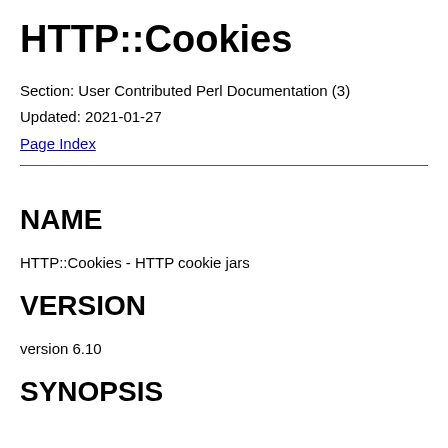HTTP::Cookies
Section: User Contributed Perl Documentation (3)
Updated: 2021-01-27
Page Index
NAME
HTTP::Cookies - HTTP cookie jars
VERSION
version 6.10
SYNOPSIS